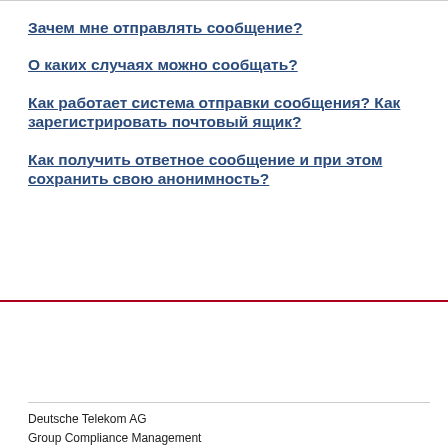Зачем мне отправлять сообщение?
О каких случаях можно сообщать?
Как работает система отправки сообщения? Как зарегистрировать почтовый ящик?
Как получить ответное сообщение и при этом сохранить свою анонимность?
Data Protection Information
Deutsche Telekom AG
Group Compliance Management
Friedrich-Ebert-Allee 140  •  53113 Bonn